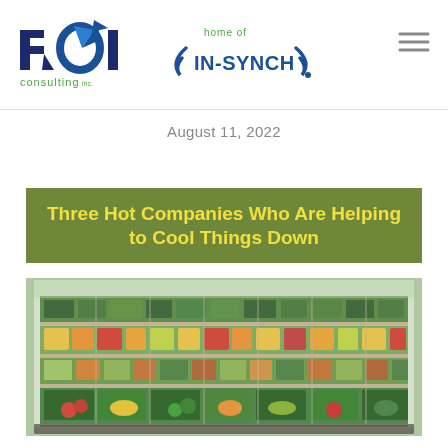[Figure (logo): ROI Consulting Inc. logo with blue arrow and 'consulting inc.' text, alongside 'home of IN-SYNCH' logo with blue swoosh]
August 11, 2022
[Figure (photo): Article featured image showing a grocery store refrigerated produce display with text overlay: 'Three Hot Companies Who Are Helping to Cool Things Down']